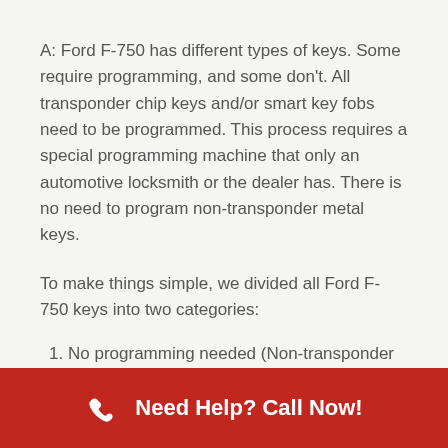A: Ford F-750 has different types of keys. Some require programming, and some don't. All transponder chip keys and/or smart key fobs need to be programmed. This process requires a special programming machine that only an automotive locksmith or the dealer has. There is no need to program non-transponder metal keys.
To make things simple, we divided all Ford F-750 keys into two categories:
No programming needed (Non-transponder keys).
Keys that need to be programmed (Transponder or remote keys). These keys required the
Need Help? Call Now!